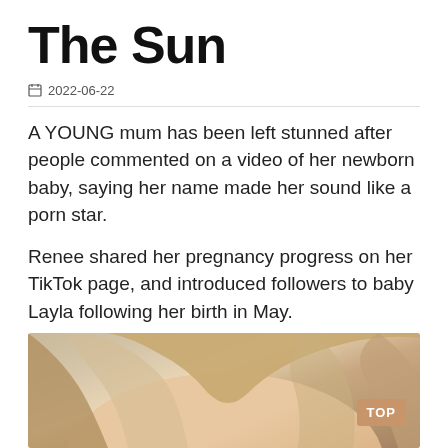The Sun
2022-06-22
A YOUNG mum has been left stunned after people commented on a video of her newborn baby, saying her name made her sound like a porn star.
Renee shared her pregnancy progress on her TikTok page, and introduced followers to baby Layla following her birth in May.
[Figure (photo): Close-up photo of a woman with blonde/light brown hair, partially cropped, showing top of head and forehead. A 'TOP' badge appears in the lower right corner of the image.]